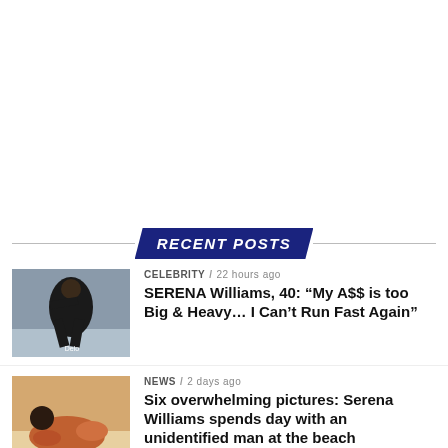RECENT POSTS
[Figure (photo): Serena Williams running/jumping on tennis court]
CELEBRITY / 22 hours ago
SERENA Williams, 40: “My A$$ is too Big & Heavy… I Can’t Run Fast Again”
[Figure (photo): Person lying on beach in orange swimsuit]
NEWS / 2 days ago
Six overwhelming pictures: Serena Williams spends day with an unidentified man at the beach